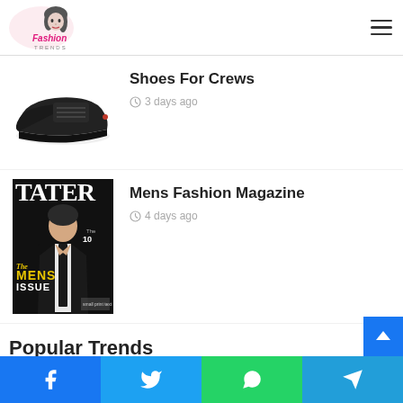Fashion Trends
[Figure (illustration): Fashion Trends website logo with illustrated woman's face and brand name]
Shoes For Crews
3 days ago
[Figure (photo): Black leather casual shoe]
Mens Fashion Magazine
4 days ago
[Figure (photo): Tatler Mens Issue magazine cover showing man in black suit]
Popular Trends
Facebook Twitter WhatsApp Telegram share buttons